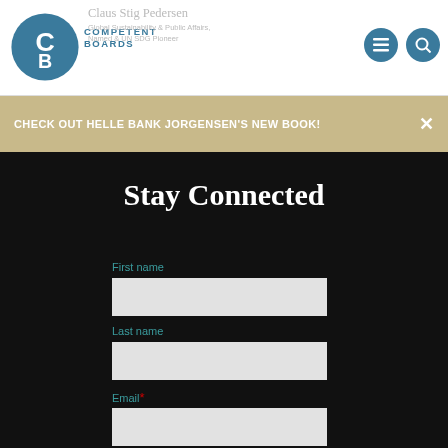Competent Boards — Claus Stig Pedersen — Global Sustainability & Public Affairs, Named & UN SDG Pioneer
CHECK OUT HELLE BANK JORGENSEN'S NEW BOOK!
Stay Connected
First name
Last name
Email *